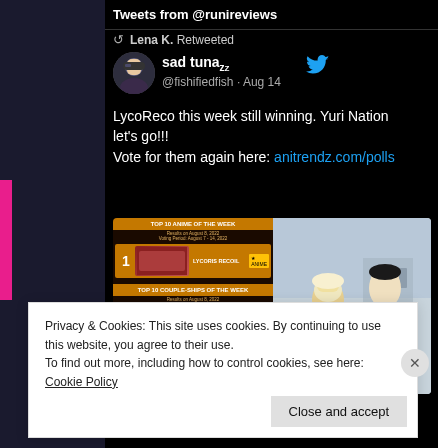Tweets from @runireviews
Lena K. Retweeted
sad tuna zzZ
@fishifiedfish · Aug 14
LycoReco this week still winning. Yuri Nation let's go!!!
Vote for them again here: anitrendz.com/polls
[Figure (screenshot): Two images: left shows anime ranking chart with TOP 10 ANIME OF THE WEEK and LYCORIS RECOIL at #1, plus TOP 10 COUPLE-SHIPS OF THE WEEK banner; right shows an anime screenshot of two characters.]
Privacy & Cookies: This site uses cookies. By continuing to use this website, you agree to their use.
To find out more, including how to control cookies, see here: Cookie Policy
Close and accept